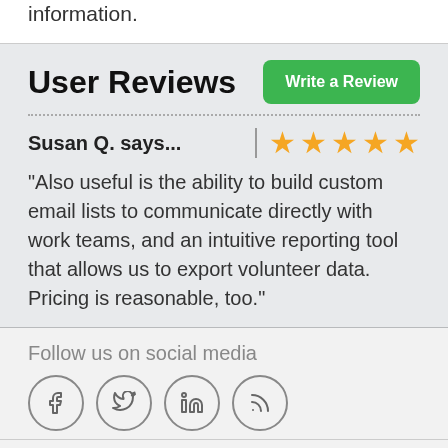information.
User Reviews
Susan Q. says...
“Also useful is the ability to build custom email lists to communicate directly with work teams, and an intuitive reporting tool that allows us to export volunteer data. Pricing is reasonable, too.”
Follow us on social media
[Figure (infographic): Social media icons: Facebook, Twitter, LinkedIn, RSS feed — each in a circle outline]
Why you can trust us